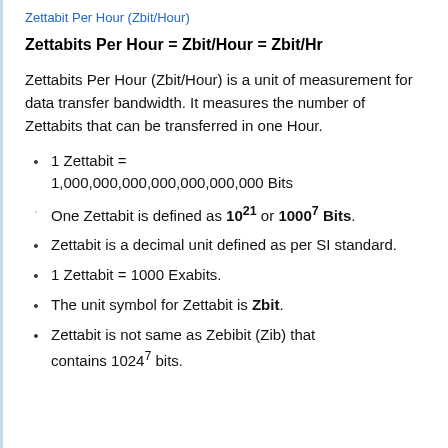Zettabit Per Hour (Zbit/Hour)
Zettabits Per Hour = Zbit/Hour = Zbit/Hr
Zettabits Per Hour (Zbit/Hour) is a unit of measurement for data transfer bandwidth. It measures the number of Zettabits that can be transferred in one Hour.
1 Zettabit = 1,000,000,000,000,000,000,000 Bits
One Zettabit is defined as 10^21 or 1000^7 Bits.
Zettabit is a decimal unit defined as per SI standard.
1 Zettabit = 1000 Exabits.
The unit symbol for Zettabit is Zbit.
Zettabit is not same as Zebibit (Zib) that contains 10247 bits.